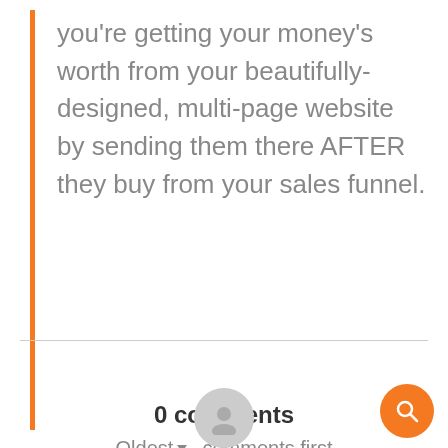you're getting your money's worth from your beautifully-designed, multi-page website by sending them there AFTER they buy from your sales funnel.
0 comments
Oldest ▾ comments first